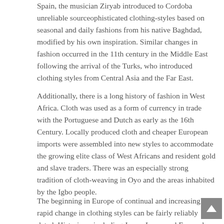Spain, the musician Ziryab introduced to Cordoba unreliable sourceophisticated clothing-styles based on seasonal and daily fashions from his native Baghdad, modified by his own inspiration. Similar changes in fashion occurred in the 11th century in the Middle East following the arrival of the Turks, who introduced clothing styles from Central Asia and the Far East.
Additionally, there is a long history of fashion in West Africa. Cloth was used as a form of currency in trade with the Portuguese and Dutch as early as the 16th Century. Locally produced cloth and cheaper European imports were assembled into new styles to accommodate the growing elite class of West Africans and resident gold and slave traders. There was an especially strong tradition of cloth-weaving in Oyo and the areas inhabited by the Igbo people.
The beginning in Europe of continual and increasingly rapid change in clothing styles can be fairly reliably dated. Historians, including James Laver and Fernand